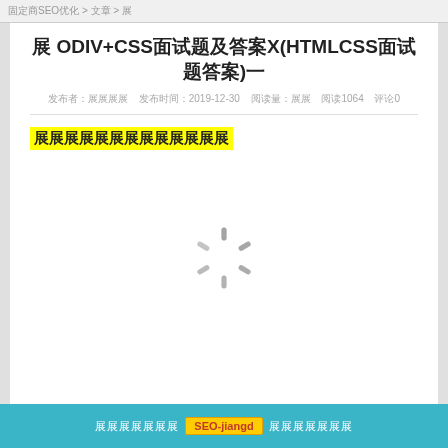SEO > 文章 > 站点
深度DIV+CSS面试题及答案X(HTMLCSS面试题答案)一
发布时间：2019-12-30  阅读量：1064  评论0
深度DIV+CSS面试题及答案（高亮）
[Figure (other): Loading spinner animation indicator]
版权所有 SEO-jiangd 保留所有权